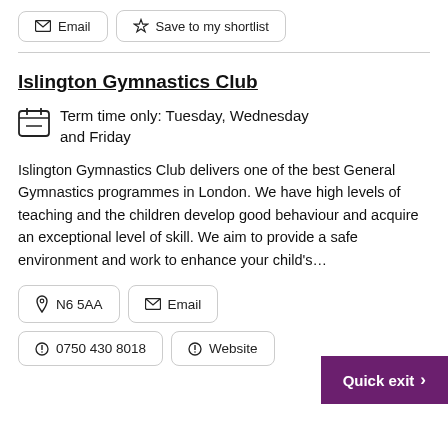Email
Save to my shortlist
Islington Gymnastics Club
Term time only: Tuesday, Wednesday and Friday
Islington Gymnastics Club delivers one of the best General Gymnastics programmes in London. We have high levels of teaching and the children develop good behaviour and acquire an exceptional level of skill. We aim to provide a safe environment and work to enhance your child's...
N6 5AA
Email
0750 430 8018
Website
Quick exit >